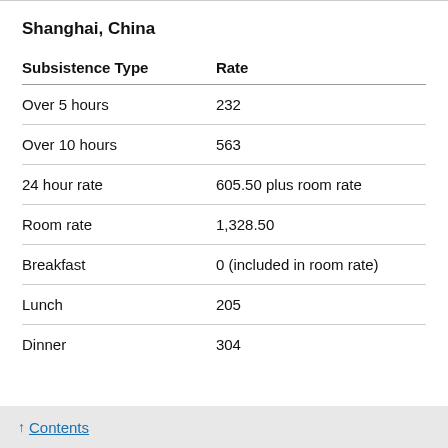Shanghai, China
| Subsistence Type | Rate |
| --- | --- |
| Over 5 hours | 232 |
| Over 10 hours | 563 |
| 24 hour rate | 605.50 plus room rate |
| Room rate | 1,328.50 |
| Breakfast | 0 (included in room rate) |
| Lunch | 205 |
| Dinner | 304 |
↑ Contents